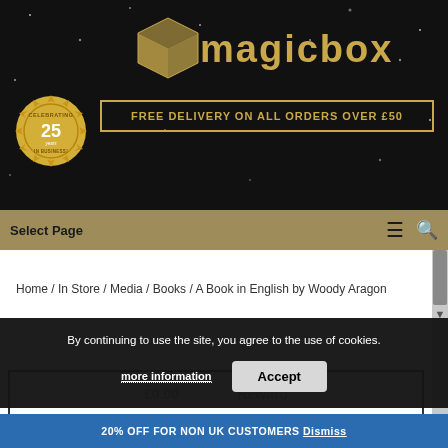[Figure (logo): Magicbox logo with golden cube icon and gold text on dark background]
[Figure (infographic): Gold badge celebrating 25 years in business]
FREE DELIVERY ON ALL ORDERS OVER £50
Select Page
Home / In Store / Media / Books / A Book in English by Woody Aragon
By continuing to use the site, you agree to the use of cookies.
more information
Accept
20% OFF FOR NON UK CUSTOMERS Dismiss